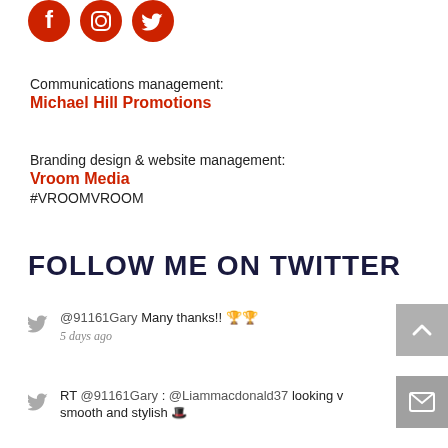[Figure (illustration): Three red circular social media icons: Facebook, Instagram, Twitter]
Communications management:
Michael Hill Promotions
Branding design & website management:
Vroom Media
#VROOMVROOM
FOLLOW ME ON TWITTER
@91161Gary Many thanks!! 5 days ago
RT @91161Gary : @Liammacdonald37 looking v smooth and stylish